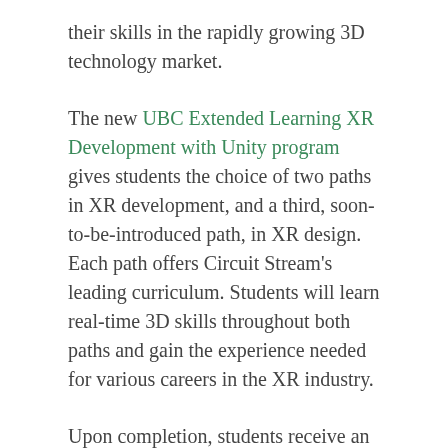their skills in the rapidly growing 3D technology market.
The new UBC Extended Learning XR Development with Unity program gives students the choice of two paths in XR development, and a third, soon-to-be-introduced path, in XR design. Each path offers Circuit Stream's leading curriculum. Students will learn real-time 3D skills throughout both paths and gain the experience needed for various careers in the XR industry.
Upon completion, students receive an XR Developer or XR Designer digital badge from Circuit Stream, a certificate of completion from the University of British Columbia Extended Learning, and the chance to earn an Associate Certification from technology